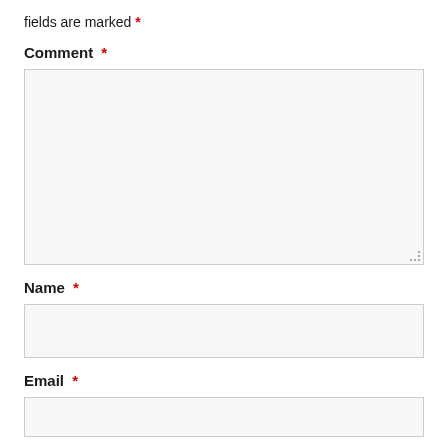fields are marked *
Comment *
[Figure (other): Large empty comment textarea input field with resize handle in bottom-right corner]
Name *
[Figure (other): Single-line text input field for name]
Email *
[Figure (other): Single-line text input field for email, partially visible at bottom]